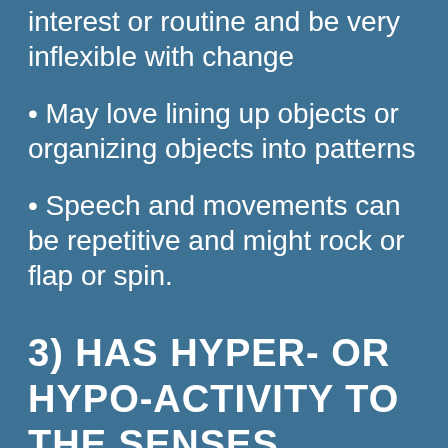interest or routine and be very inflexible with change
• May love lining up objects or organizing objects into patterns
• Speech and movements can be repetitive and might rock or flap or spin.
3) HAS HYPER- OR HYPO-ACTIVITY TO THE SENSES, INCLUDING BALANCE